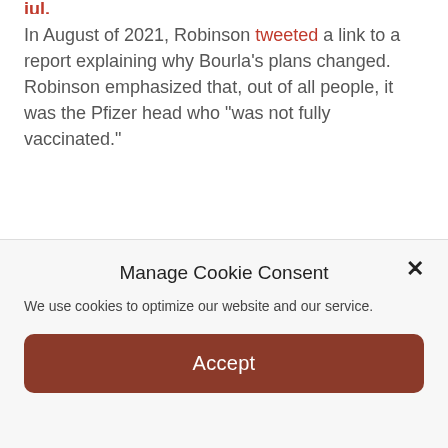In August of 2021, Robinson tweeted a link to a report explaining why Bourla's plans changed. Robinson emphasized that, out of all people, it was the Pfizer head who "was not fully vaccinated."
[Figure (screenshot): Embedded tweet from Emerald Robinson (@EmeraldRinson) with purple cross badge. Tweet text: 'The CEO of Pfizer had to cancel a planned trip to Israel because he was not fully vaccinated. Let me repeat: BECAUSE HE WAS NOT VACCINATED.']
Manage Cookie Consent
We use cookies to optimize our website and our service.
Accept